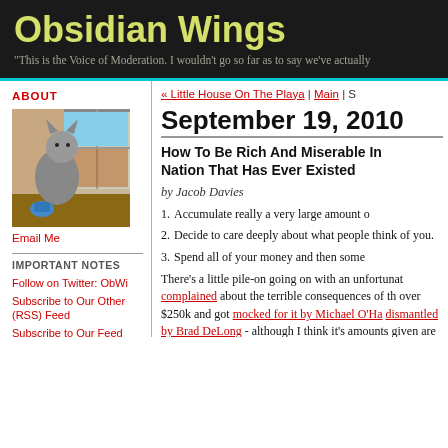Obsidian Wings
"This is the Voice of Moderation. I wouldn't go so far as to say we've actually
ABOUT
[Figure (photo): Cat sitting at window sill looking outside, with a small blue toy nearby]
Email Me
IMPORTANT NOTES
Follow on Twitter: ObWi
Subscribe to Our Other (RSS) Feed
Subscribe to Our Feed
ObWi's Banning Policy
About our Mascot
Posting Rules
« Little House On The Playa | Main | S
September 19, 2010
How To Be Rich And Miserable In Nation That Has Ever Existed
by Jacob Davies
Accumulate really a very large amount o
Decide to care deeply about what people think of you.
Spend all of your money and then some
There's a little pile-on going on with an unfortunat complained about the terrible consequences of th over $250k and got mocked for it by Michael O'Ha dismantled by Brad DeLong - although I think it's amounts given are speculative. Still, his whining i